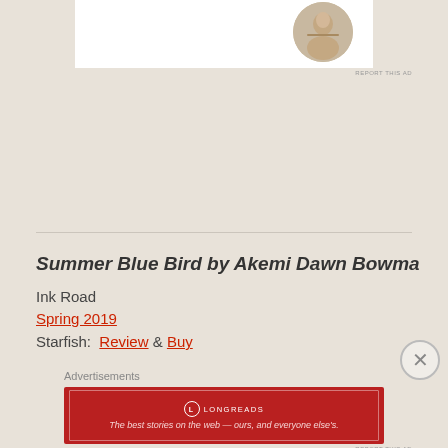[Figure (other): Advertisement banner with circular photo of person writing]
REPORT THIS AD
Summer Blue Bird by Akemi Dawn Bowma
Ink Road
Spring 2019
Starfish: Review & Buy
Advertisements
[Figure (logo): Longreads advertisement banner: The best stories on the web — ours, and everyone else's.]
REPORT THIS AD